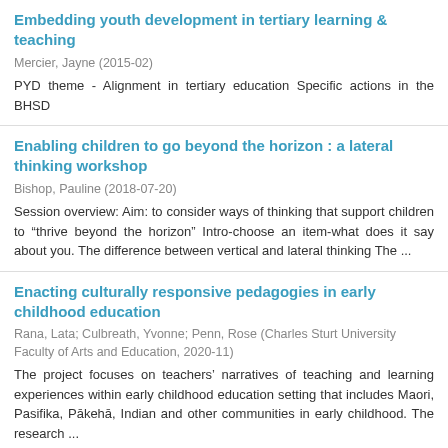Embedding youth development in tertiary learning & teaching
Mercier, Jayne (2015-02)
PYD theme - Alignment in tertiary education Specific actions in the BHSD
Enabling children to go beyond the horizon : a lateral thinking workshop
Bishop, Pauline (2018-07-20)
Session overview: Aim: to consider ways of thinking that support children to “thrive beyond the horizon” Intro-choose an item-what does it say about you. The difference between vertical and lateral thinking The ...
Enacting culturally responsive pedagogies in early childhood education
Rana, Lata; Culbreath, Yvonne; Penn, Rose (Charles Sturt University Faculty of Arts and Education, 2020-11)
The project focuses on teachers’ narratives of teaching and learning experiences within early childhood education setting that includes Maori, Pasifika, Pākehā, Indian and other communities in early childhood. The research ...